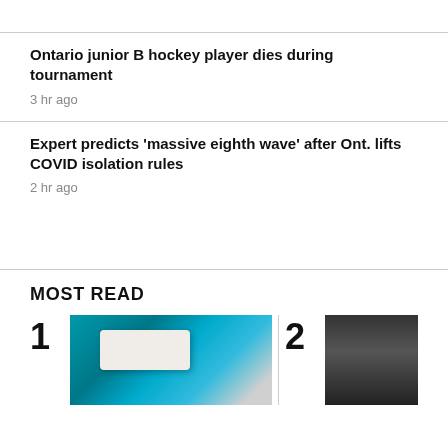Ontario junior B hockey player dies during tournament
3 hr ago
Expert predicts 'massive eighth wave' after Ont. lifts COVID isolation rules
2 hr ago
MOST READ
[Figure (photo): Number 1 most read item with photo of a person in blue gloves holding a COVID rapid antigen test]
[Figure (photo): Number 2 most read item with a dark product photo, partially visible]